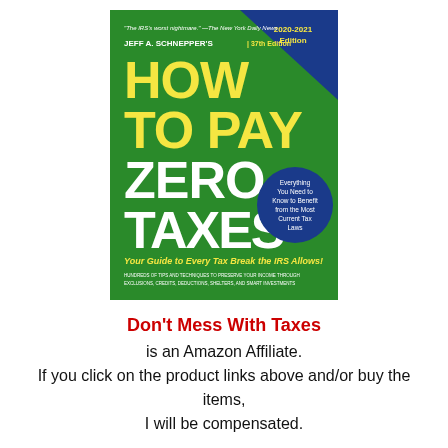[Figure (illustration): Book cover of 'How to Pay Zero Taxes' by Jeff A. Schnepper, 37th Edition, 2020-2021 Edition. Green background with large yellow and white text. Subtitle: 'Your Guide to Every Tax Break the IRS Allows!' Blue corner badge and blue circle with 'Everything You Need to Know to Benefit from the Most Current Tax Laws'. Small text at bottom about tips and techniques.]
Don't Mess With Taxes is an Amazon Affiliate. If you click on the product links above and/or buy the items, I will be compensated.